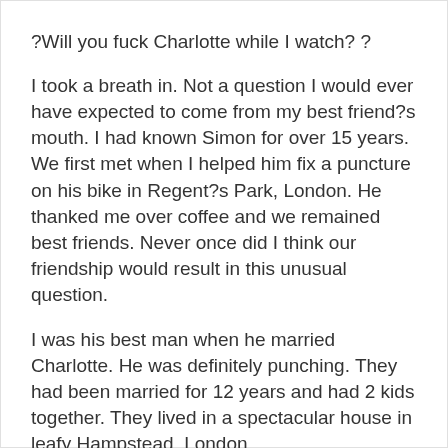?Will you fuck Charlotte while I watch? ?
I took a breath in. Not a question I would ever have expected to come from my best friend?s mouth. I had known Simon for over 15 years. We first met when I helped him fix a puncture on his bike in Regent?s Park, London. He thanked me over coffee and we remained best friends. Never once did I think our friendship would result in this unusual question.
I was his best man when he married Charlotte. He was definitely punching. They had been married for 12 years and had 2 kids together. They lived in a spectacular house in leafy Hampstead, London.